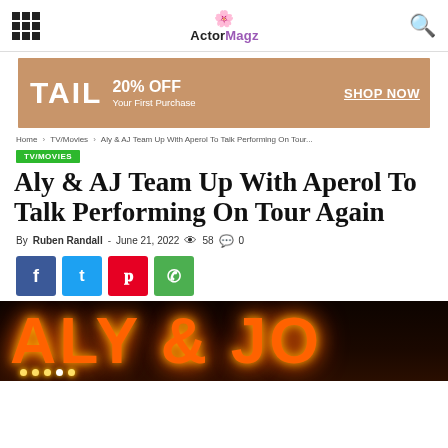ActorMagz
[Figure (infographic): Advertisement banner: TAIL 20% OFF Your First Purchase SHOP NOW with woman figure]
Home > TV/Movies > Aly & AJ Team Up With Aperol To Talk Performing On Tour...
TV/MOVIES
Aly & AJ Team Up With Aperol To Talk Performing On Tour Again
By Ruben Randall - June 21, 2022  58  0
[Figure (infographic): Social sharing buttons: Facebook, Twitter, Pinterest, WhatsApp]
[Figure (photo): Illuminated orange letter marquee signs spelling partial letters, dark background with bokeh light bulbs]